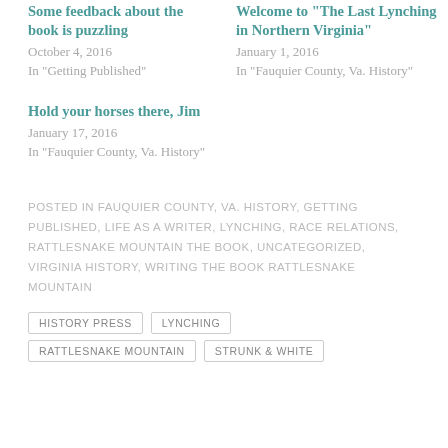Some feedback about the book is puzzling
October 4, 2016
In "Getting Published"
Welcome to "The Last Lynching in Northern Virginia"
January 1, 2016
In "Fauquier County, Va. History"
Hold your horses there, Jim
January 17, 2016
In "Fauquier County, Va. History"
POSTED IN FAUQUIER COUNTY, VA. HISTORY, GETTING PUBLISHED, LIFE AS A WRITER, LYNCHING, RACE RELATIONS, RATTLESNAKE MOUNTAIN THE BOOK, UNCATEGORIZED, VIRGINIA HISTORY, WRITING THE BOOK RATTLESNAKE MOUNTAIN
HISTORY PRESS
LYNCHING
RATTLESNAKE MOUNTAIN
STRUNK & WHITE